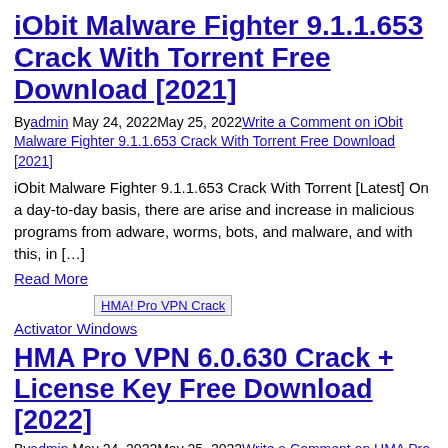iObit Malware Fighter 9.1.1.653 Crack With Torrent Free Download [2021]
By admin May 24, 2022May 25, 2022 Write a Comment on iObit Malware Fighter 9.1.1.653 Crack With Torrent Free Download [2021]
iObit Malware Fighter 9.1.1.653 Crack With Torrent [Latest] On a day-to-day basis, there are arise and increase in malicious programs from adware, worms, bots, and malware, and with this, in […]
Read More
[Figure (other): HMA! Pro VPN Crack thumbnail image]
Activator Windows
HMA Pro VPN 6.0.630 Crack + License Key Free Download [2022]
By admin May 24, 2022May 25, 2022 Write a Comment on HMA Pro VPN 6.0.630 Crack + License Key Free Download [2022]